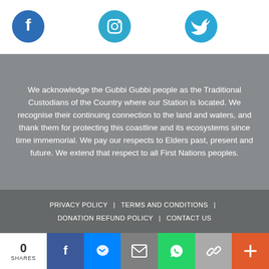[Figure (infographic): Three social media icon circles: Facebook (dark blue), Instagram (teal), Twitter (light blue) with white icons]
We acknowledge the Gubbi Gubbi people as the Traditional Custodians of the Country where our Station is located. We recognise their continuing connection to the land and waters, and thank them for protecting this coastline and its ecosystems since time immemorial. We pay our respects to Elders past, present and future. We extend that respect to all First Nations peoples.
PRIVACY POLICY | TERMS AND CONDITIONS | DONATION REFUND POLICY | CONTACT US
[Figure (infographic): Share bar at bottom: 0 SHARES, then buttons for Facebook, Messenger, Email, WhatsApp, Link, Plus]